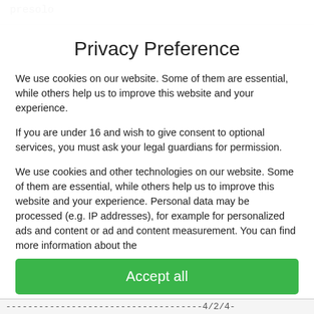presolo
Privacy Preference
We use cookies on our website. Some of them are essential, while others help us to improve this website and your experience.
If you are under 16 and wish to give consent to optional services, you must ask your legal guardians for permission.
We use cookies and other technologies on our website. Some of them are essential, while others help us to improve this website and your experience. Personal data may be processed (e.g. IP addresses), for example for personalized ads and content or ad and content measurement. You can find more information about the
Essential   Marketing   External Media
Accept all
------------------------------------4/2/4-